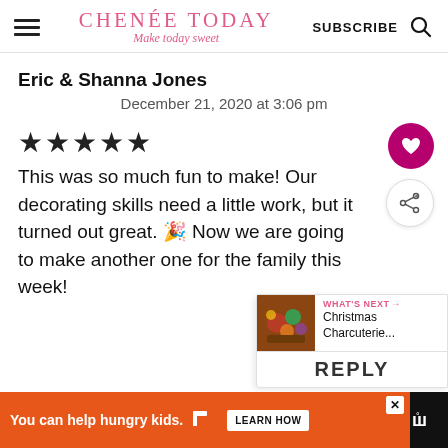CHENÉE TODAY — Make today sweet | SUBSCRIBE
Eric & Shanna Jones
December 21, 2020 at 3:06 pm
★★★★★
This was so much fun to make! Our decorating skills need a little work, but it turned out great. 🎉 Now we are going to make another one for the family this week!
WHAT'S NEXT → Christmas Charcuterie...
REPLY
You can help hungry kids. NO KID HUNGRY LEARN HOW